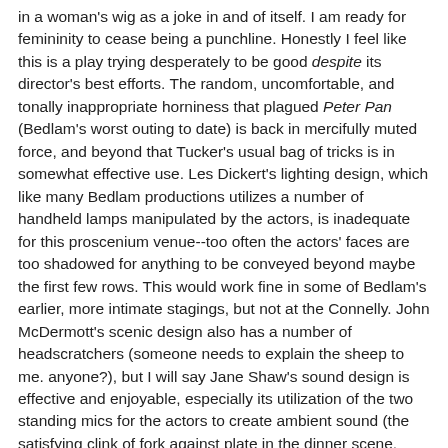in a woman's wig as a joke in and of itself. I am ready for femininity to cease being a punchline. Honestly I feel like this is a play trying desperately to be good despite its director's best efforts. The random, uncomfortable, and tonally inappropriate horniness that plagued Peter Pan (Bedlam's worst outing to date) is back in mercifully muted force, and beyond that Tucker's usual bag of tricks is in somewhat effective use. Les Dickert's lighting design, which like many Bedlam productions utilizes a number of handheld lamps manipulated by the actors, is inadequate for this proscenium venue--too often the actors' faces are too shadowed for anything to be conveyed beyond maybe the first few rows. This would work fine in some of Bedlam's earlier, more intimate stagings, but not at the Connelly. John McDermott's scenic design also has a number of headscratchers (someone needs to explain the sheep to me. anyone?), but I will say Jane Shaw's sound design is effective and enjoyable, especially its utilization of the two standing mics for the actors to create ambient sound (the satisfying clink of fork against plate in the dinner scene, yum). The cast is mostly okay, with Caroline Grogan and Yonatan Gebeyehu two particular standouts in a number of roles (even if I hated